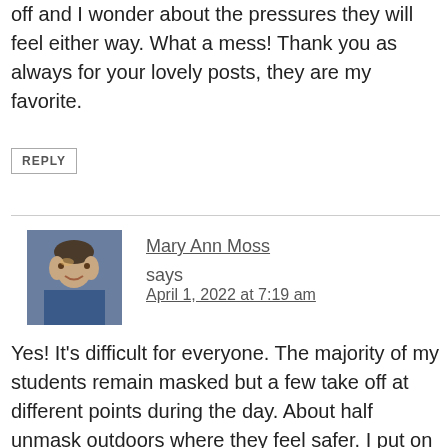off and I wonder about the pressures they will feel either way. What a mess! Thank you as always for your lovely posts, they are my favorite.
REPLY
Mary Ann Moss says
April 1, 2022 at 7:19 am
Yes! It's difficult for everyone. The majority of my students remain masked but a few take off at different points during the day. About half unmask outdoors where they feel safer. I put on 2 when someone seated close to me unmasks. We'll all adjust eventually (in our own ways) and next year will probably start out unmasked, but who knows? It's no great hardship in the greater scheme of things and I think children and adults need to